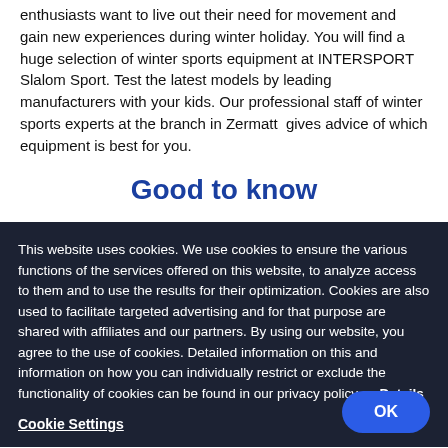enthusiasts want to live out their need for movement and gain new experiences during winter holiday. You will find a huge selection of winter sports equipment at INTERSPORT Slalom Sport. Test the latest models by leading manufacturers with your kids. Our professional staff of winter sports experts at the branch in Zermatt  gives advice of which equipment is best for you.
Good to know
This website uses cookies. We use cookies to ensure the various functions of the services offered on this website, to analyze access to them and to use the results for their optimization. Cookies are also used to facilitate targeted advertising and for that purpose are shared with affiliates and our partners. By using our website, you agree to the use of cookies. Detailed information on this and information on how you can individually restrict or exclude the functionality of cookies can be found in our privacy policy.    Details
Cookie Settings